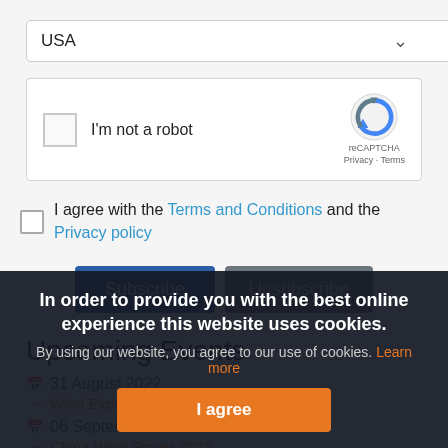USA (dropdown)
[Figure (screenshot): reCAPTCHA widget box with checkbox 'I'm not a robot' and reCAPTCHA logo with Privacy - Terms text]
I agree with the Terms and Conditions and the Privacy policy
Subscribe | Unsubscribe (buttons)
Upcoming Events
31 August 2022
Wind Expo 2022 Fall Edition
06 September 2022
China Wind Power 2022
21 September 2022
Small & Medium W...
27 September 2022
In order to provide you with the best online experience this website uses cookies. By using our website, you agree to our use of cookies. Learn more
I agree